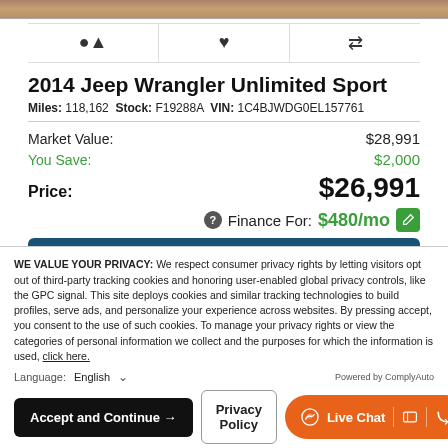[Figure (photo): Top strip showing part of a car image in brown/tan tones]
2014 Jeep Wrangler Unlimited Sport
Miles: 118,162 Stock: F19288A VIN: 1C4BJWDG0EL157761
| Market Value: | $28,991 |
| You Save: | $2,000 |
| Price: | $26,991 |
| Finance For: | $480/mo |
[Figure (screenshot): Capital One Explore financing banner — dark blue background with 'Explore financing' text and Capital One logo]
WE VALUE YOUR PRIVACY: We respect consumer privacy rights by letting visitors opt out of third-party tracking cookies and honoring user-enabled global privacy controls, like the GPC signal. This site deploys cookies and similar tracking technologies to build profiles, serve ads, and personalize your experience across websites. By pressing accept, you consent to the use of such cookies. To manage your privacy rights or view the categories of personal information we collect and the purposes for which the information is used, click here.
Language: English
Powered by ComplyAuto
Accept and Continue →   Privacy Policy   Live Chat